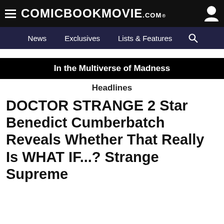ComicBookMovie.com
News  Exclusives  Lists & Features
In the Multiverse of Madness
Headlines
DOCTOR STRANGE 2 Star Benedict Cumberbatch Reveals Whether That Really Is WHAT IF...? Strange Supreme